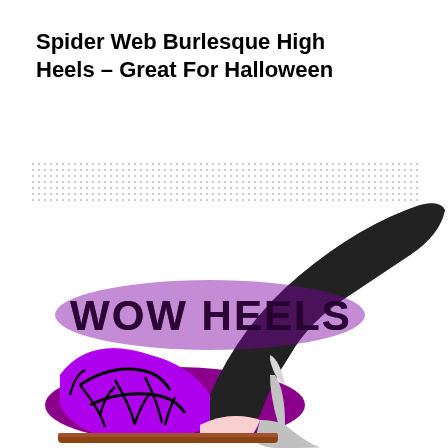Spider Web Burlesque High Heels – Great For Halloween
[Figure (photo): A glittery high heel shoe with purple glitter spider web pattern on the toe and platform area, black glitter upper, and silver glitter stiletto heel. A watermark reads WOW HEELS. Background has a dot/halftone pattern band across the top.]